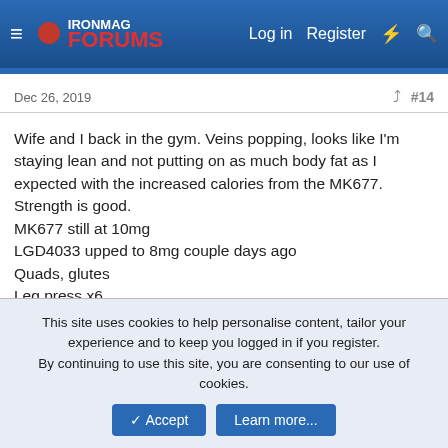IronMag Forums — Log in  Register
Dec 26, 2019  #14
Wife and I back in the gym. Veins popping, looks like I'm staying lean and not putting on as much body fat as I expected with the increased calories from the MK677. Strength is good.
MK677 still at 10mg
LGD4033 upped to 8mg couple days ago
Quads, glutes
Leg press x6
Leg extensions x5
Horizontal leg press x4
Dumbell lunges x3
This site uses cookies to help personalise content, tailor your experience and to keep you logged in if you register.
By continuing to use this site, you are consenting to our use of cookies.
Accept  Learn more...